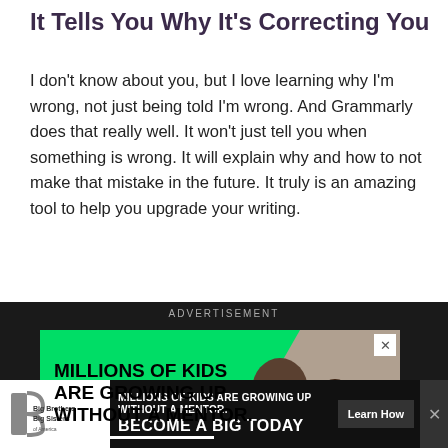It Tells You Why It’s Correcting You
I don’t know about you, but I love learning why I’m wrong, not just being told I’m wrong. And Grammarly does that really well. It won’t just tell you when something is wrong. It will explain why and how to not make that mistake in the future. It truly is an amazing tool to help you upgrade your writing.
[Figure (screenshot): Advertisement banner with dark background showing a Big Brothers Big Sisters ad. Main banner is green with text 'MILLIONS OF KIDS ARE GROWING UP WITHOUT A MENTOR.' and 'BECOME A BIG TODAY' with a photo of an adult mentor and child. A smaller bottom bar repeats the message with a 'Learn How' button.]